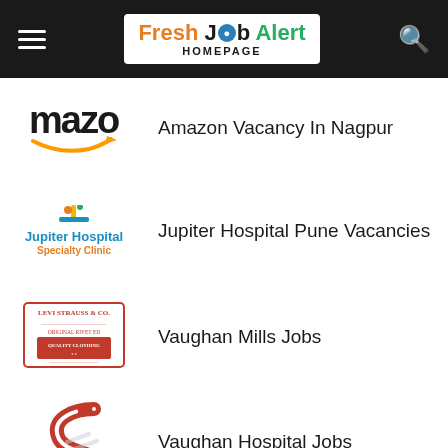Fresh Job Alert HOMEPAGE
Amazon Vacancy In Nagpur
Jupiter Hospital Pune Vacancies
Vaughan Mills Jobs
Vaughan Hospital Jobs